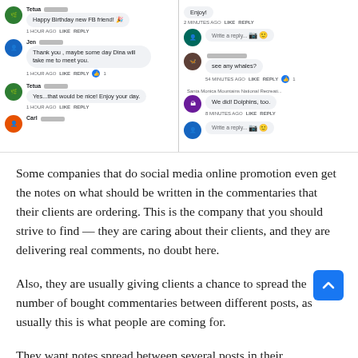[Figure (screenshot): Two side-by-side Facebook comment thread screenshots showing social media comments including birthday wishes and whale/dolphin conversation]
Some companies that do social media online promotion even get the notes on what should be written in the commentaries that their clients are ordering. This is the company that you should strive to find — they are caring about their clients, and they are delivering real comments, no doubt here.
Also, they are usually giving clients a chance to spread the number of bought commentaries between different posts, as usually this is what people are coming for.
They want notes spread between several posts in their